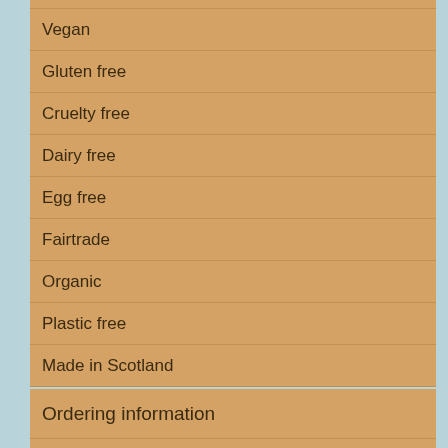Vegan
Gluten free
Cruelty free
Dairy free
Egg free
Fairtrade
Organic
Plastic free
Made in Scotland
Ordering information
Delivery or Click & Collect
Terms and Conditions
If you have a complaint